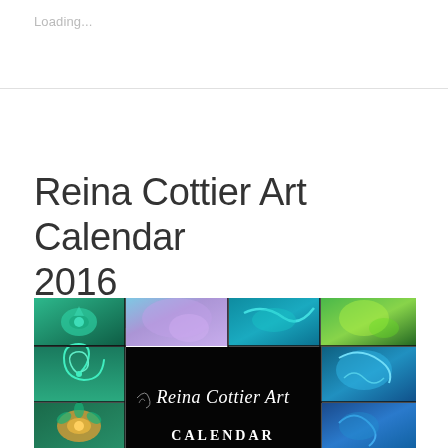Loading...
Reina Cottier Art Calendar 2016
6 COMMENTS
[Figure (photo): Reina Cottier Art Calendar 2016 cover image — a grid of colorful artworks featuring teal, green, purple and blue swirling nature-inspired paintings, with a central black panel showing the 'Reina Cottier Art' logo text and 'CALENDAR' text below.]